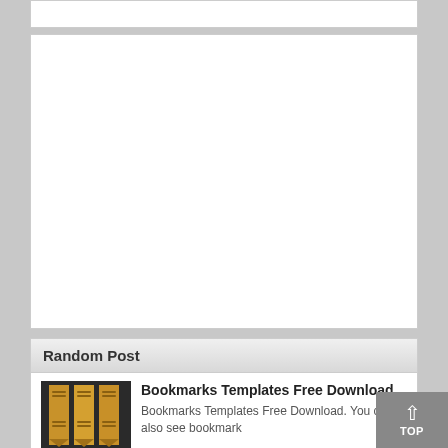[Figure (other): Empty white box (partially visible at top)]
[Figure (other): Large empty white advertisement box]
Random Post
[Figure (photo): Thumbnail of bookmark templates showing gold/dark bookmark ribbons]
Bookmarks Templates Free Download
Bookmarks Templates Free Download. You can also see bookmark
[Figure (photo): Thumbnail of weekly weight loss chart showing a blue chart]
Weekly Weight Loss Chart
Weekly Weight Loss Chart. This can will...